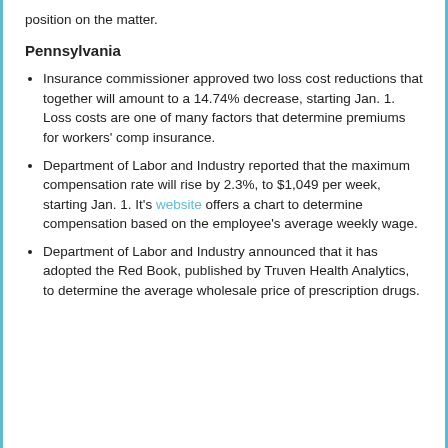position on the matter.
Pennsylvania
Insurance commissioner approved two loss cost reductions that together will amount to a 14.74% decrease, starting Jan. 1. Loss costs are one of many factors that determine premiums for workers' comp insurance.
Department of Labor and Industry reported that the maximum compensation rate will rise by 2.3%, to $1,049 per week, starting Jan. 1. It's website offers a chart to determine compensation based on the employee's average weekly wage.
Department of Labor and Industry announced that it has adopted the Red Book, published by Truven Health Analytics, to determine the average wholesale price of prescription drugs.